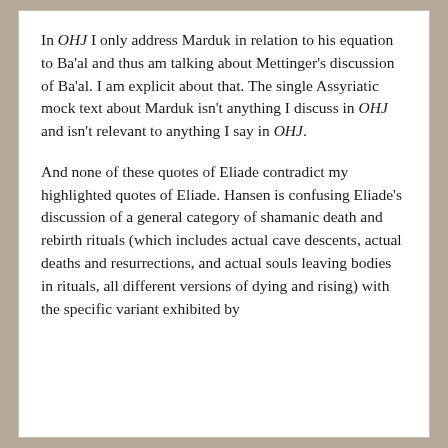In OHJ I only address Marduk in relation to his equation to Ba'al and thus am talking about Mettinger's discussion of Ba'al. I am explicit about that. The single Assyriatic mock text about Marduk isn't anything I discuss in OHJ and isn't relevant to anything I say in OHJ.
And none of these quotes of Eliade contradict my highlighted quotes of Eliade. Hansen is confusing Eliade's discussion of a general category of shamanic death and rebirth rituals (which includes actual cave descents, actual deaths and resurrections, and actual souls leaving bodies in rituals, all different versions of dying and rising) with the specific variant exhibited by